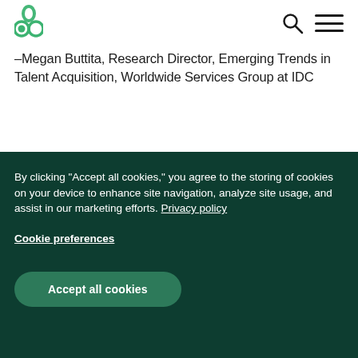Greenhouse logo, search icon, menu icon
–Megan Buttita, Research Director, Emerging Trends in Talent Acquisition, Worldwide Services Group at IDC
By clicking “Accept all cookies,” you agree to the storing of cookies on your device to enhance site navigation, analyze site usage, and assist in our marketing efforts. Privacy policy
Cookie preferences
Accept all cookies